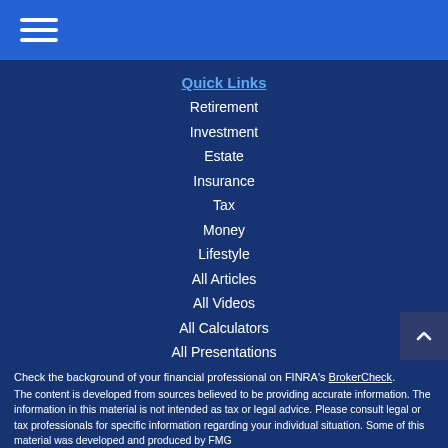Navigation menu header bar
Quick Links
Retirement
Investment
Estate
Insurance
Tax
Money
Lifestyle
All Articles
All Videos
All Calculators
All Presentations
Check the background of your financial professional on FINRA's BrokerCheck.
The content is developed from sources believed to be providing accurate information. The information in this material is not intended as tax or legal advice. Please consult legal or tax professionals for specific information regarding your individual situation. Some of this material was developed and produced by FMG